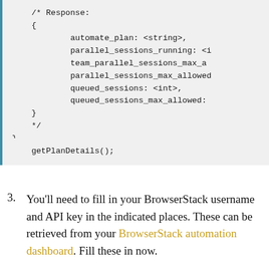/* Response:
    {
        automate_plan: <string>,
        parallel_sessions_running: <i
        team_parallel_sessions_max_a
        parallel_sessions_max_allowe
        queued_sessions: <int>,
        queued_sessions_max_allowed:
    }
    */
}
getPlanDetails();
You'll need to fill in your BrowserStack username and API key in the indicated places. These can be retrieved from your BrowserStack automation dashboard. Fill these in now.